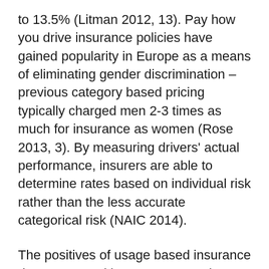to 13.5% (Litman 2012, 13). Pay how you drive insurance policies have gained popularity in Europe as a means of eliminating gender discrimination – previous category based pricing typically charged men 2-3 times as much for insurance as women (Rose 2013, 3). By measuring drivers' actual performance, insurers are able to determine rates based on individual risk rather than the less accurate categorical risk (NAIC 2014).
The positives of usage based insurance do not come without some negative drawbacks. From the perspective of insurance companies, telematic devices represent a potential overload of data (Perr & Knight 2012). With the devices recording data every second, the amount of data that must be sorted through in order to create a useful measurement of driving habits measures on the